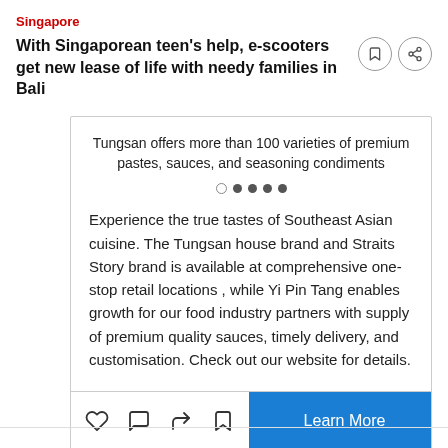Singapore
With Singaporean teen's help, e-scooters get new lease of life with needy families in Bali
Tungsan offers more than 100 varieties of premium pastes, sauces, and seasoning condiments
Experience the true tastes of Southeast Asian cuisine. The Tungsan house brand and Straits Story brand is available at comprehensive one-stop retail locations , while Yi Pin Tang enables growth for our food industry partners with supply of premium quality sauces, timely delivery, and customisation. Check out our website for details.
Learn More